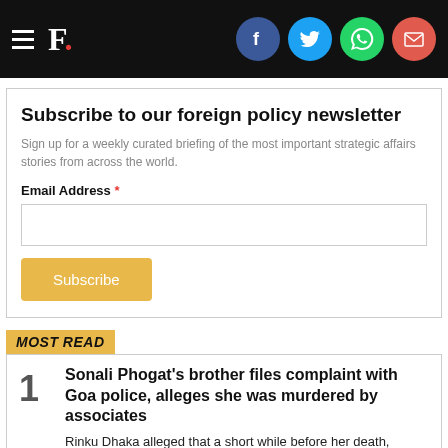F. [with social share icons: Facebook, Twitter, WhatsApp, Email]
Subscribe to our foreign policy newsletter
Sign up for a weekly curated briefing of the most important strategic affairs stories from across the world.
Email Address *
MOST READ
1 Sonali Phogat's brother files complaint with Goa police, alleges she was murdered by associates
Rinku Dhaka alleged that a short while before her death, Sonali Phogat had asked her to keep the joint...